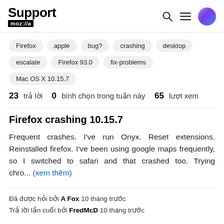Support mozilla // a
Firefox
apple
bug?
crashing
desktop
escalate
Firefox 93.0
fix-problems
Mac OS X 10.15.7
23 trả lời  0  bình chọn trong tuần này  65  lượt xem
Firefox crashing 10.15.7
Frequent crashes. I've run Onyx. Reset extensions. Reinstalled firefox. I've been using google maps frequently, so I switched to safari and that crashed too. Trying chro... (xem thêm)
Đã được hỏi bởi A Fox 10 tháng trước
Trả lời lần cuối bởi FredMcD 10 tháng trước